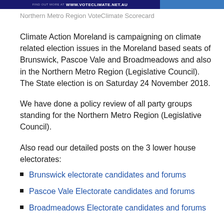FIND OUT MORE AT WWW.VOTECLIMATE.NET.AU
Northern Metro Region VoteClimate Scorecard
Climate Action Moreland is campaigning on climate related election issues in the Moreland based seats of Brunswick, Pascoe Vale and Broadmeadows and also in the Northern Metro Region (Legislative Council). The State election is on Saturday 24 November 2018.
We have done a policy review of all party groups standing for the Northern Metro Region (Legislative Council).
Also read our detailed posts on the 3 lower house electorates:
Brunswick electorate candidates and forums
Pascoe Vale Electorate candidates and forums
Broadmeadows Electorate candidates and forums